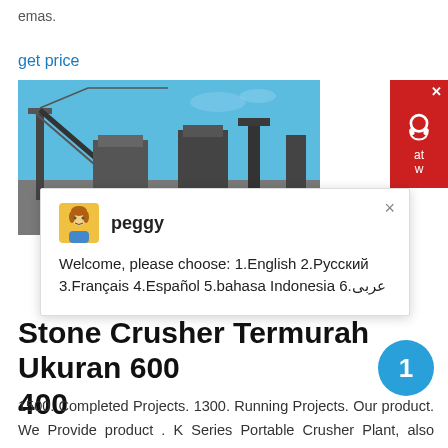emas.
get price
[Figure (photo): Outdoor photo of a stone crusher / quarry plant machinery with conveyor belts and industrial equipment against a blue sky.]
[Figure (screenshot): Chat popup widget with avatar of 'peggy' and message: Welcome, please choose: 1.English 2.Русский 3.Français 4.Español 5.bahasa Indonesia 6.عربى]
Stone Crusher Termurah Ukuran 600 400
1500. Completed Projects. 1300. Running Projects. Our product. We Provide product . K Series Portable Crusher Plant, also known as K Series Portable Crusher, is a new type of equipment developed on the basis of years of independent research and K